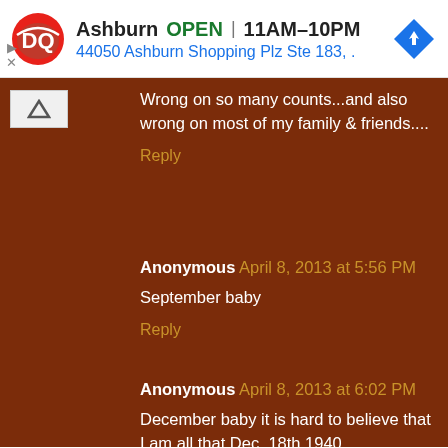[Figure (screenshot): Dairy Queen ad banner with DQ logo, showing Ashburn location OPEN 11AM-10PM, address 44050 Ashburn Shopping Plz Ste 183, with a blue map navigation icon]
Wrong on so many counts...and also wrong on most of my family & friends....
Reply
Anonymous April 8, 2013 at 5:56 PM
September baby
Reply
Anonymous April 8, 2013 at 6:02 PM
December baby it is hard to believe that I am all that Dec. 18th 1940
Reply